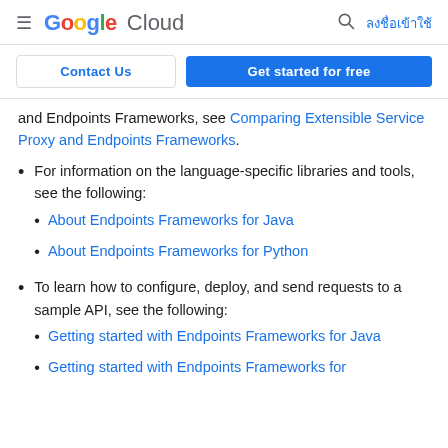Google Cloud | ลงชื่อเข้าใช้
and Endpoints Frameworks, see Comparing Extensible Service Proxy and Endpoints Frameworks.
For information on the language-specific libraries and tools, see the following:
About Endpoints Frameworks for Java
About Endpoints Frameworks for Python
To learn how to configure, deploy, and send requests to a sample API, see the following:
Getting started with Endpoints Frameworks for Java
Getting started with Endpoints Frameworks for